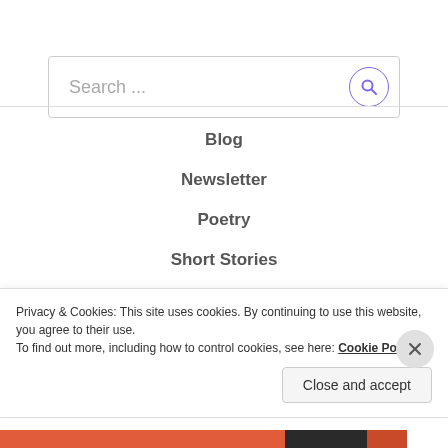[Figure (screenshot): Search input box with placeholder text 'Search ...' and a search icon button on the right]
Blog
Newsletter
Poetry
Short Stories
Life Musings
Snippets
Letters
Privacy & Cookies: This site uses cookies. By continuing to use this website, you agree to their use.
To find out more, including how to control cookies, see here: Cookie Policy
Close and accept